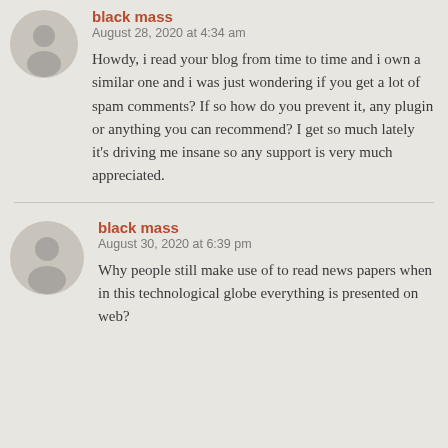[Figure (illustration): Gray avatar icon of a person silhouette (first comment)]
black mass
August 28, 2020 at 4:34 am
Howdy, i read your blog from time to time and i own a similar one and i was just wondering if you get a lot of spam comments? If so how do you prevent it, any plugin or anything you can recommend? I get so much lately it's driving me insane so any support is very much appreciated.
[Figure (illustration): Gray avatar icon of a person silhouette (second comment)]
black mass
August 30, 2020 at 6:39 pm
Why people still make use of to read news papers when in this technological globe everything is presented on web?